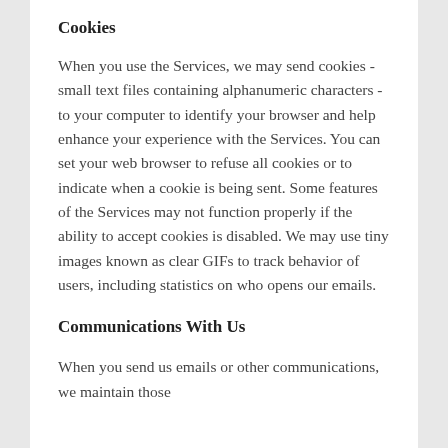Cookies
When you use the Services, we may send cookies - small text files containing alphanumeric characters - to your computer to identify your browser and help enhance your experience with the Services. You can set your web browser to refuse all cookies or to indicate when a cookie is being sent. Some features of the Services may not function properly if the ability to accept cookies is disabled. We may use tiny images known as clear GIFs to track behavior of users, including statistics on who opens our emails.
Communications With Us
When you send us emails or other communications, we maintain those